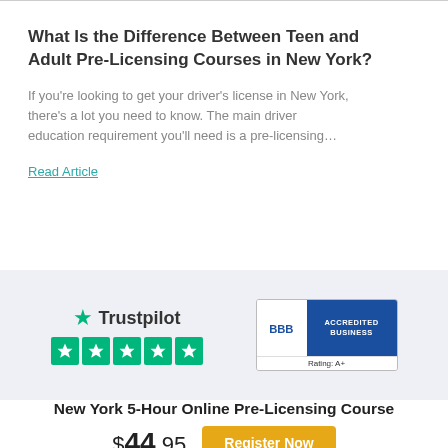What Is the Difference Between Teen and Adult Pre-Licensing Courses in New York?
If you're looking to get your driver's license in New York, there's a lot you need to know. The main driver education requirement you'll need is a pre-licensing…
Read Article
[Figure (logo): Trustpilot logo with 5 green stars rating bar]
[Figure (logo): BBB Accredited Business badge with Rating A+]
New York 5-Hour Online Pre-Licensing Course
$44.95  Register Now